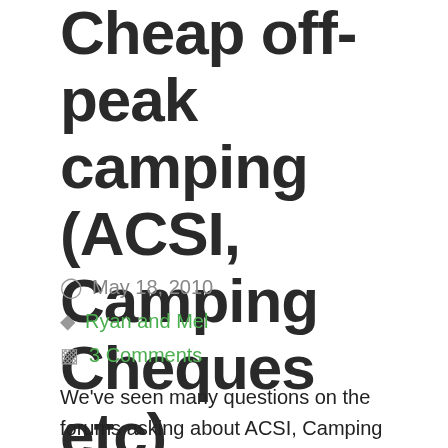Cheap off-peak camping (ACSI, Camping Cheques etc)
May 18, 2010
Ryan and Mel
3 Comments
We've seen many questions on the forums asking about ACSI, Camping Cheques and off peak camping, so thought it worthy as an article.  All information here is accurate as